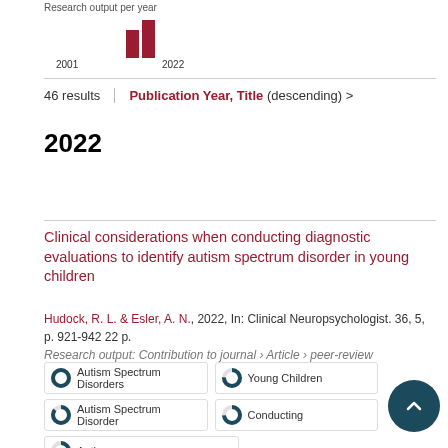[Figure (bar-chart): Research output per year]
46 results   Publication Year, Title (descending)  >
2022
Clinical considerations when conducting diagnostic evaluations to identify autism spectrum disorder in young children
Hudock, R. L. & Esler, A. N., 2022, In: Clinical Neuropsychologist. 36, 5, p. 921-942 22 p.
Research output: Contribution to journal › Article › peer-review
Autism Spectrum Disorders
Young Children
Autism Spectrum Disorder
Conducting
Autism